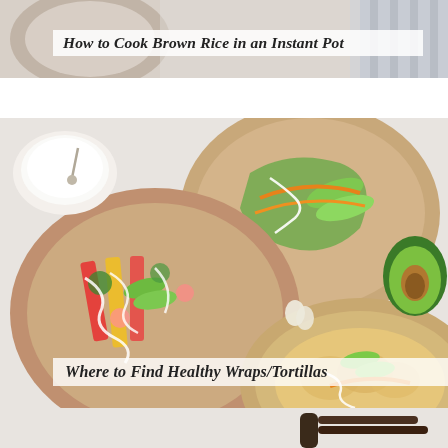[Figure (photo): Top partial image showing food/dish with a bowl visible, cropped at top of page]
How to Cook Brown Rice in an Instant Pot
[Figure (photo): Overhead photo of three whole-wheat tortillas/wraps topped with colorful vegetables including avocado slices, red peppers, carrots, broccoli, radishes, and drizzled with white sauce/dressing, with a halved avocado and garlic cloves visible on a white surface]
Where to Find Healthy Wraps/Tortillas
[Figure (photo): Bottom partial image showing a dark-handled utensil/spoon on a light background, cropped at bottom of page]